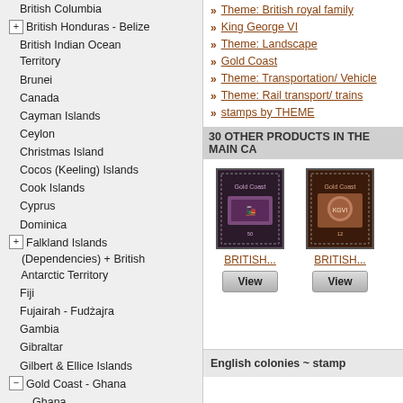British Columbia
British Honduras - Belize
British Indian Ocean Territory
Brunei
Canada
Cayman Islands
Ceylon
Christmas Island
Cocos (Keeling) Islands
Cook Islands
Cyprus
Dominica
Falkland Islands (Dependencies) + British Antarctic Territory
Fiji
Fujairah - Fudżajra
Gambia
Gibraltar
Gilbert & Ellice Islands
Gold Coast - Ghana
Ghana
Gold Coast
Grenada
Grenadines
Hong Kong
INDIA:
Inland Revenue
Iraq
Theme: British royal family
King George VI
Theme: Landscape
Gold Coast
Theme: Transportation/ Vehicle
Theme: Rail transport/ trains
stamps by THEME
30 OTHER PRODUCTS IN THE MAIN CA
[Figure (photo): Purple stamp from Gold Coast showing locomotive/train design]
BRITISH...
[Figure (photo): Brown/red stamp showing King George VI portrait]
BRITISH...
English colonies ~ stamp